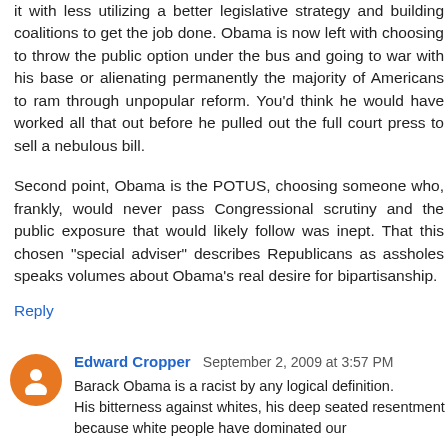it with less utilizing a better legislative strategy and building coalitions to get the job done. Obama is now left with choosing to throw the public option under the bus and going to war with his base or alienating permanently the majority of Americans to ram through unpopular reform. You'd think he would have worked all that out before he pulled out the full court press to sell a nebulous bill.
Second point, Obama is the POTUS, choosing someone who, frankly, would never pass Congressional scrutiny and the public exposure that would likely follow was inept. That this chosen "special adviser" describes Republicans as assholes speaks volumes about Obama's real desire for bipartisanship.
Reply
Edward Cropper September 2, 2009 at 3:57 PM
Barack Obama is a racist by any logical definition. His bitterness against whites, his deep seated resentment because white people have dominated our economic and political structures, his comments in his